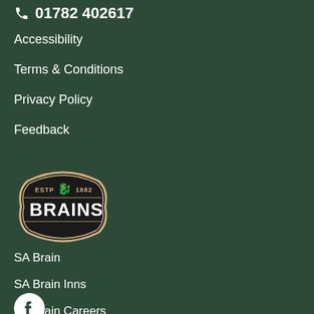01782 402617
Accessibility
Terms & Conditions
Privacy Policy
Feedback
[Figure (logo): Brains brewery logo - badge shape with 'ESTP 1882' text, red dragon, and 'BRAINS' in bold white letters on dark background with cream/gold border]
SA Brain
SA Brain Inns
SA Brain Careers
[Figure (logo): Facebook social media icon - circular white icon on dark green background]